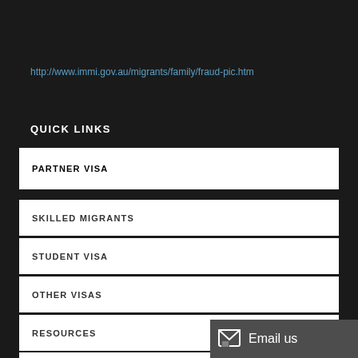http://www.immi.gov.au/migrants/family/fraud-pic.htm
QUICK LINKS
PARTNER VISA
SKILLED MIGRANTS
STUDENT VISA
OTHER VISAS
RESOURCES
CONTACT US
Email us